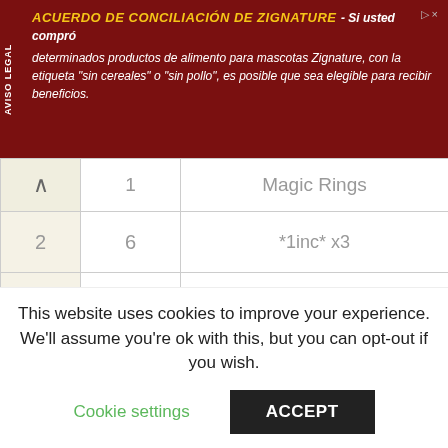[Figure (other): Ad banner for ACUERDO DE CONCILIACIÓN DE ZIGNATURE in dark red background with yellow title text and white body text in Spanish]
| ↑ | 1 | 3 | Magic Rings |
| --- | --- | --- | --- |
| 2 | 6 | *1inc* x3 |
| 3 | 9 | *1sc, 1inc* x3 |
| 4 | 12 | *2sc, 1inc* x3 |
| 5 | 15 | *3sc, 1inc* x3 |
| 6 | 18 | *4sc, 1inc* x3 |
This website uses cookies to improve your experience. We'll assume you're ok with this, but you can opt-out if you wish.
Cookie settings | ACCEPT